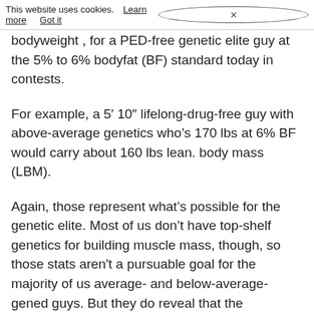This website uses cookies. Learn more  Got it  ×
bodyweight , for a PED-free genetic elite guy at the 5% to 6% bodyfat (BF) standard today in contests.
For example, a 5′ 10″ lifelong-drug-free guy with above-average genetics who's 170 lbs at 6% BF would carry about 160 lbs lean. body mass (LBM).
Again, those represent what's possible for the genetic elite. Most of us don't have top-shelf genetics for building muscle mass, though, so those stats aren't a pursuable goal for the majority of us average- and below-average-gened guys. But they do reveal that the maximums